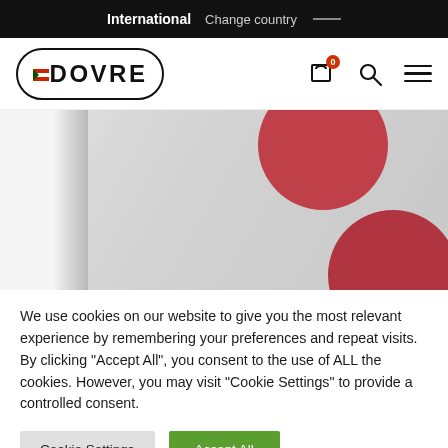International   Change country —
[Figure (logo): DOVRE brand logo in oval border with small red icon]
[Figure (photo): Interior room scene with grey wall and red circular decorative objects, partially visible]
We use cookies on our website to give you the most relevant experience by remembering your preferences and repeat visits. By clicking "Accept All", you consent to the use of ALL the cookies. However, you may visit "Cookie Settings" to provide a controlled consent.
Cookie Settings   Accept All